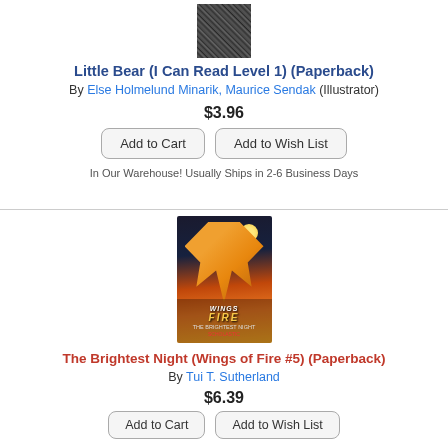[Figure (illustration): Small pixelated/patterned book cover image for Little Bear]
Little Bear (I Can Read Level 1) (Paperback)
By Else Holmelund Minarik, Maurice Sendak (Illustrator)
$3.96
Add to Cart
Add to Wish List
In Our Warehouse! Usually Ships in 2-6 Business Days
[Figure (illustration): Book cover for Wings of Fire: The Brightest Night showing a golden dragon against a night sky with moon]
The Brightest Night (Wings of Fire #5) (Paperback)
By Tui T. Sutherland
$6.39
Add to Cart
Add to Wish List